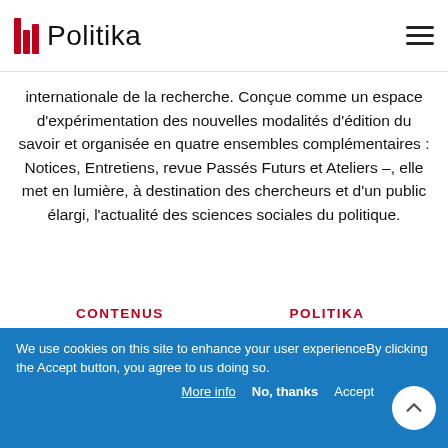Politika
internationale de la recherche. Conçue comme un espace d'expérimentation des nouvelles modalités d'édition du savoir et organisée en quatre ensembles complémentaires : Notices, Entretiens, revue Passés Futurs et Ateliers –, elle met en lumière, à destination des chercheurs et d'un public élargi, l'actualité des sciences sociales du politique.
CONTENUS
POLITIKA
Articles
À propos
Passés futurs
Contact
Ateliers
Auteurs
We use cookies on this site to enhance your user experienceBy clicking the Accept button, you agree to us doing so.